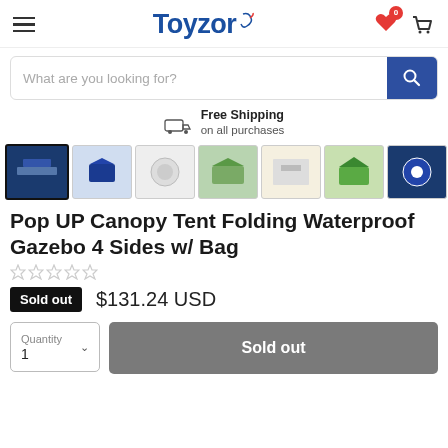Toyzor
[Figure (screenshot): Search bar with placeholder text 'What are you looking for?' and a blue search button]
Free Shipping on all purchases
[Figure (photo): Horizontal strip of product thumbnail images for a pop-up canopy tent]
Pop UP Canopy Tent Folding Waterproof Gazebo 4 Sides w/ Bag
★☆☆☆☆ (star rating, no reviews)
Sold out   $131.24 USD
Quantity 1   Sold out